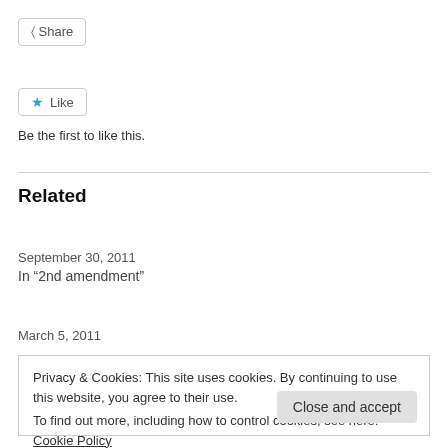[Figure (other): Share button with share icon]
[Figure (other): Like button with blue star icon]
Be the first to like this.
Related
Why God Invented the 2nd Amendment
September 30, 2011
In "2nd amendment"
Persian Gulf Confusion
March 5, 2011
Privacy & Cookies: This site uses cookies. By continuing to use this website, you agree to their use.
To find out more, including how to control cookies, see here: Cookie Policy
Close and accept